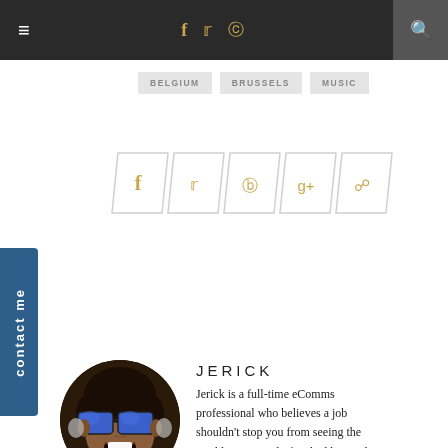≡  f  𝕏  📷  🔍
BELGIUM  BRUSSELS  MUSIC
[Figure (infographic): Row of 5 social sharing buttons (diamond/parallelogram shaped) with icons: Facebook, Twitter, Pinterest, Google+, Comment bubble — in gold/yellow color on white parallelogram outlines]
[Figure (photo): Circular profile photo of Jerick — a person wearing large blue-framed sunglasses with mouth open wide, dark hair, in front of bookshelf]
JERICK
Jerick is a full-time eComms professional who believes a job shouldn't stop you from seeing the world. He recently finished his goal to travel to 25 countries by the time he becomes 25.